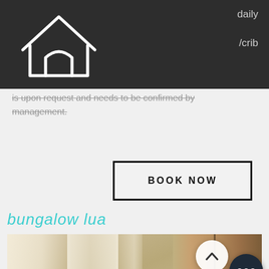daily /crib
[Figure (logo): White house/home logo on dark background]
is upon request and needs to be confirmed by management.
BOOK NOW
bungalow lua
[Figure (photo): Bungalow room interior with sheer white curtains, canopy bed with pillows, stone/concrete walls, and a wardrobe/closet area on the right side]
[Figure (other): Scroll-up circular button with chevron icon]
[Figure (other): More options dark circular button with three dots]